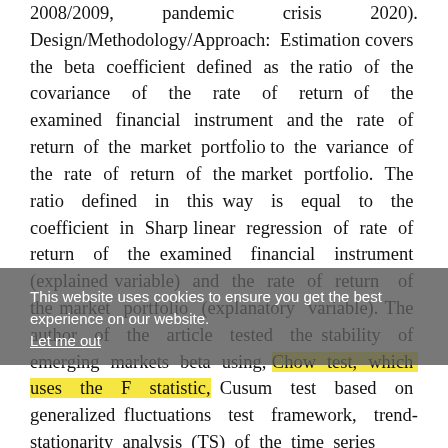2008/2009, pandemic crisis 2020). Design/Methodology/Approach: Estimation covers the beta coefficient defined as the ratio of the covariance of the rate of return of the examined financial instrument and the rate of return of the market portfolio to the variance of the rate of return of the market portfolio. The ratio defined in this way is equal to the coefficient in Sharp linear regression of rate of return of the examined financial instrument (explained variable) and the rate of return of the market portfolio (explanatory variable). The author of the article tested the stability of emerging markets beta using, Chow test, which uses the F statistic, Cusum test based on generalized fluctuations test framework, trend-stationarity analysis (TS) of the time series
This website uses cookies to ensure you get the best experience on our website. Let me out